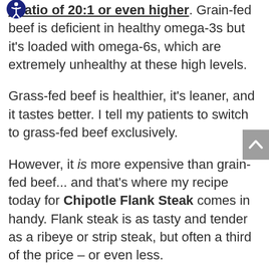a ratio of 20:1 or even higher. Grain-fed beef is deficient in healthy omega-3s but it's loaded with omega-6s, which are extremely unhealthy at these high levels.
Grass-fed beef is healthier, it's leaner, and it tastes better. I tell my patients to switch to grass-fed beef exclusively.
However, it is more expensive than grain-fed beef... and that's where my recipe today for Chipotle Flank Steak comes in handy. Flank steak is as tasty and tender as a ribeye or strip steak, but often a third of the price – or even less.
And by adding one tenderizing ingredient to the marinade — goat's milk yogurt — you'll end up with the most succulent flank steak you've ever